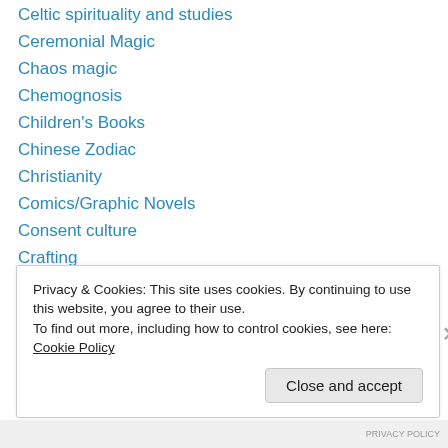Celtic spirituality and studies
Ceremonial Magic
Chaos magic
Chemognosis
Children's Books
Chinese Zodiac
Christianity
Comics/Graphic Novels
Consent culture
Crafting
Cryptozoology/Paranormal
Curses
Deities
Privacy & Cookies: This site uses cookies. By continuing to use this website, you agree to their use.
To find out more, including how to control cookies, see here: Cookie Policy
Close and accept